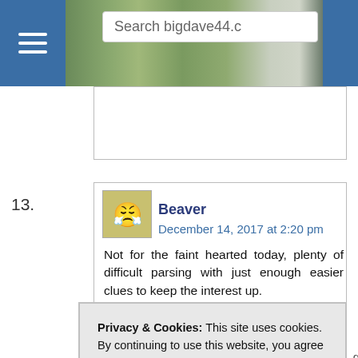Search bigdave44.c
Beaver
December 14, 2017 at 2:20 pm
Not for the faint hearted today, plenty of difficult parsing with just enough easier clues to keep the interest up.
Going for a ***/*****, certainly enjoyable, not heard of 1a as an introduction before – from experience I expect it is right.
Privacy & Cookies: This site uses cookies. By continuing to use this website, you agree to their use.
To find out more, including how to control cookies, see here: Cookie Policy
is beginning to study that subject .